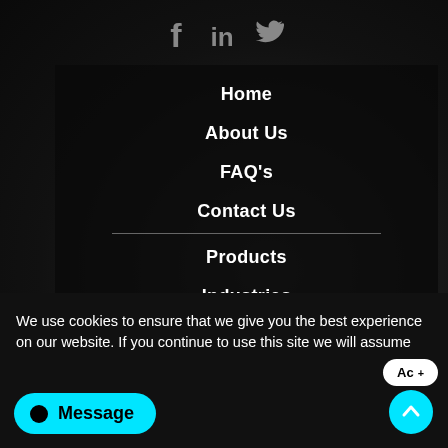[Figure (screenshot): Social media icons: Facebook (f), LinkedIn (in), Twitter bird icon, displayed in gray at top center]
Home
About Us
FAQ's
Contact Us
Products
Industries
Integrations
Blog
We use cookies to ensure that we give you the best experience on our website. If you continue to use this site we will assume
Message
Ac+